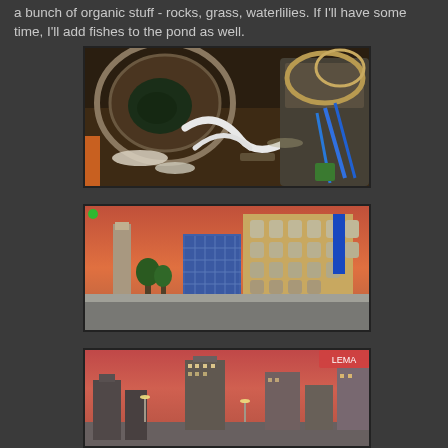a bunch of organic stuff - rocks, grass, waterlilies. If I'll have some time, I'll add fishes to the pond as well.
[Figure (illustration): Top-down view of a futuristic 3D rendered interior scene with curved white structures, metallic surfaces, glowing elements, and a central pond or garden area with organic material.]
[Figure (illustration): Street-level 3D rendered scene of a city at dusk featuring classical architecture with arched windows, a modern glass-and-steel building, a bridge, and warm sunset sky.]
[Figure (illustration): Low-angle 3D rendered cityscape at dusk showing tall buildings and street lights with a warm pink sky in the background.]